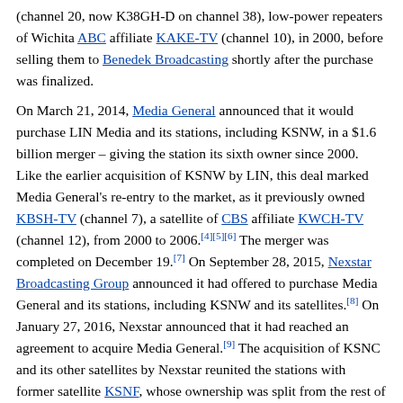(channel 20, now K38GH-D on channel 38), low-power repeaters of Wichita ABC affiliate KAKE-TV (channel 10), in 2000, before selling them to Benedek Broadcasting shortly after the purchase was finalized.
On March 21, 2014, Media General announced that it would purchase LIN Media and its stations, including KSNW, in a $1.6 billion merger – giving the station its sixth owner since 2000. Like the earlier acquisition of KSNW by LIN, this deal marked Media General's re-entry to the market, as it previously owned KBSH-TV (channel 7), a satellite of CBS affiliate KWCH-TV (channel 12), from 2000 to 2006.[4][5][6] The merger was completed on December 19.[7] On September 28, 2015, Nexstar Broadcasting Group announced it had offered to purchase Media General and its stations, including KSNW and its satellites.[8] On January 27, 2016, Nexstar announced that it had reached an agreement to acquire Media General.[9] The acquisition of KSNC and its other satellites by Nexstar reunited the stations with former satellite KSNF, whose ownership was split from the rest of the Kansas State Network in 1986. The deal was approved by the FCC on January 11, 2017, and it was completed on January 17, marking Nexstar's first entry into the Wichita market.[10]
Notes